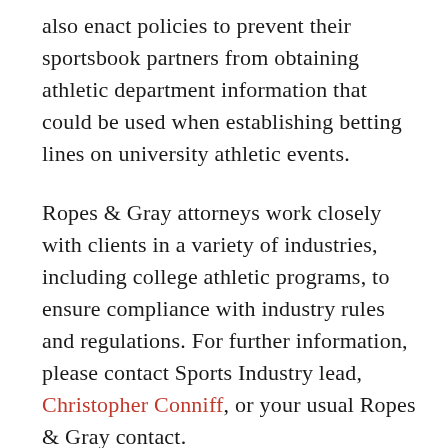also enact policies to prevent their sportsbook partners from obtaining athletic department information that could be used when establishing betting lines on university athletic events.
Ropes & Gray attorneys work closely with clients in a variety of industries, including college athletic programs, to ensure compliance with industry rules and regulations. For further information, please contact Sports Industry lead, Christopher Conniff, or your usual Ropes & Gray contact.
1. https://cubuffs.com/news/2020/9/8/general-cu-pointsbet-announce-corporate-